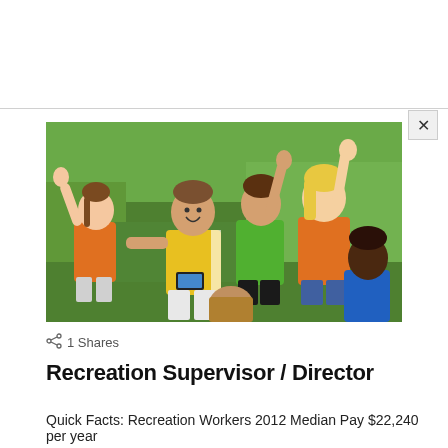[Figure (photo): A recreation supervisor wearing a yellow shirt looking at a device, surrounded by children with raised hands on a green grass field. Children are wearing orange, green, and orange shirts.]
< 1 Shares
Recreation Supervisor / Director
Quick Facts: Recreation Workers 2012 Median Pay $22,240 per year